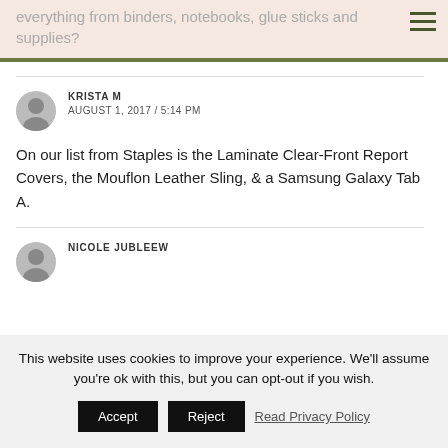everything from binders, notebooks, glue sticks and supplies?
KRISTA M
AUGUST 1, 2017 / 5:14 PM
On our list from Staples is the Laminate Clear-Front Report Covers, the Mouflon Leather Sling, & a Samsung Galaxy Tab A.
NICOLE JUBLEEW
This website uses cookies to improve your experience. We'll assume you're ok with this, but you can opt-out if you wish. Accept Reject Read Privacy Policy